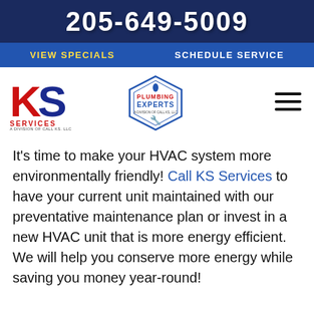205-649-5009
VIEW SPECIALS   SCHEDULE SERVICE
[Figure (logo): KS Services logo and Plumbing Experts badge]
It's time to make your HVAC system more environmentally friendly! Call KS Services to have your current unit maintained with our preventative maintenance plan or invest in a new HVAC unit that is more energy efficient. We will help you conserve more energy while saving you money year-round!